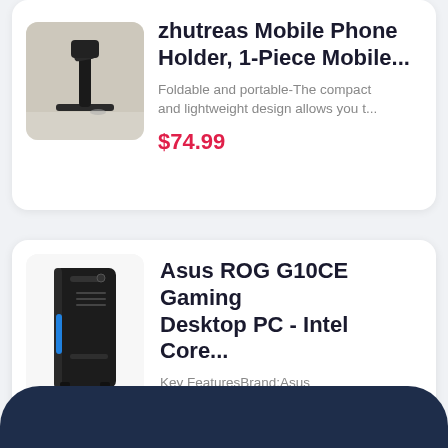[Figure (photo): Photo of a black foldable mobile phone holder/stand on a desk]
zhutreas Mobile Phone Holder, 1-Piece Mobile...
Foldable and portable-The compact and lightweight design allows you t...
$74.99
[Figure (photo): Photo of an Asus ROG G10CE gaming desktop PC tower in black with blue LED accent]
Asus ROG G10CE Gaming Desktop PC - Intel Core...
Key FeaturesBrand:Asus Series:ROGModel #:G10CE-SB564...
$1,039.00